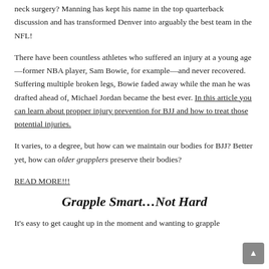neck surgery?  Manning has kept his name in the top quarterback discussion and has transformed Denver into arguably the best team in the NFL!
There have been countless athletes who suffered an injury at a young age—former NBA player, Sam Bowie, for example—and never recovered.  Suffering multiple broken legs, Bowie faded away while the man he was drafted ahead of, Michael Jordan became the best ever. In this article you can learn about propper injury prevention for BJJ and how to treat those potential injuries.
It varies, to a degree, but how can we maintain our bodies for BJJ?  Better yet, how can older grapplers preserve their bodies?
READ MORE!!!
Grapple Smart…Not Hard
It's easy to get caught up in the moment and wanting to grapple